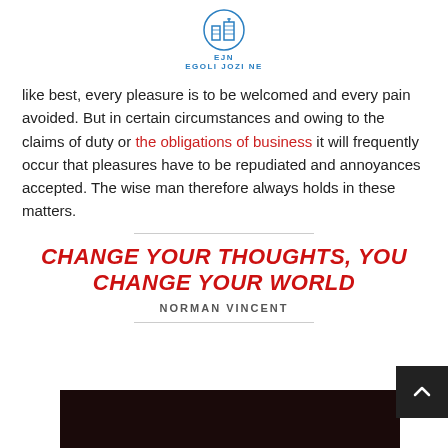EJN EGOLI JOZI NE
like best, every pleasure is to be welcomed and every pain avoided. But in certain circumstances and owing to the claims of duty or the obligations of business it will frequently occur that pleasures have to be repudiated and annoyances accepted. The wise man therefore always holds in these matters.
CHANGE YOUR THOUGHTS, YOU CHANGE YOUR WORLD
NORMAN VINCENT
[Figure (photo): Dark photograph at the bottom of the page]